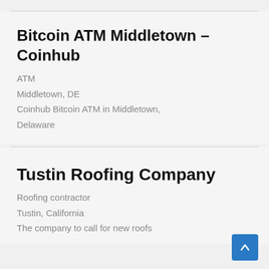Bitcoin ATM Middletown – Coinhub
ATM
Middletown, DE
Coinhub Bitcoin ATM in Middletown, Delaware
Tustin Roofing Company
Roofing contractor
Tustin, California
The company to call for new roofs